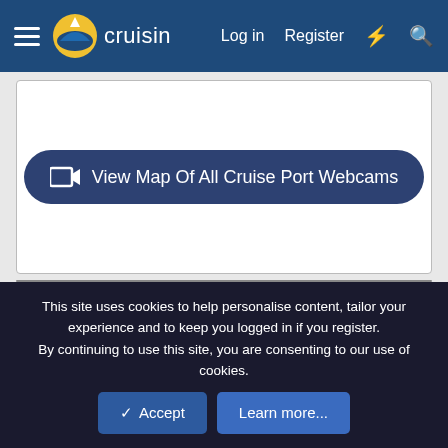cruisin — Log in | Register
[Figure (screenshot): White content box with a dark blue rounded button labeled 'View Map Of All Cruise Port Webcams' with a video camera icon]
View Map Of All Cruise Port Webcams
View Live Cameras Full Screen
Some live camera streams allow for viewing in full screen. If it is available a button will be available on the the live stream to expand it to full screen. Hitting the ESC button will return you to normal view.
Camera Images May Not Always Be Available
This site uses cookies to help personalise content, tailor your experience and to keep you logged in if you register.
By continuing to use this site, you are consenting to our use of cookies.
Accept | Learn more...